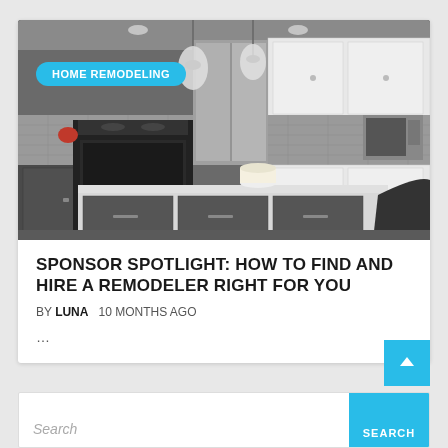[Figure (photo): Modern remodeled kitchen with dark gray lower cabinets, white upper cabinets, large white quartz island, black range, stainless steel refrigerator, pendant lights, and gray subway tile backsplash]
HOME REMODELING
SPONSOR SPOTLIGHT: HOW TO FIND AND HIRE A REMODELER RIGHT FOR YOU
BY LUNA   10 MONTHS AGO
...
Search
SEARCH